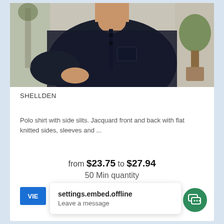[Figure (photo): Man wearing a dark navy/black polo shirt with button collar and chest pocket, standing outdoors with plants in background]
SHELLDEN
Polo shirt with side slits. Jacquard front and back with flat knitted sides, sleeves and ...
from $23.75 to $27.94
50 Min quantity
VIE
settings.embed.offline
Leave a message